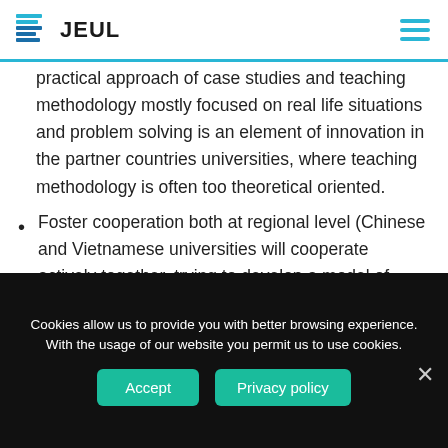JEUL
practical approach of case studies and teaching methodology mostly focused on real life situations and problem solving is an element of innovation in the partner countries universities, where teaching methodology is often too theoretical oriented.
Foster cooperation both at regional level (Chinese and Vietnamese universities will cooperate actively together, trying to develop a model of university-industry which fits better for their national and regional settings) and at wider level (all the project activities will involve active participation both of European and partner countries universities). The gap between the academic world and
Cookies allow us to provide you with better browsing experience. With the usage of our website you permit us to use cookies.
Accept    Privacy policy